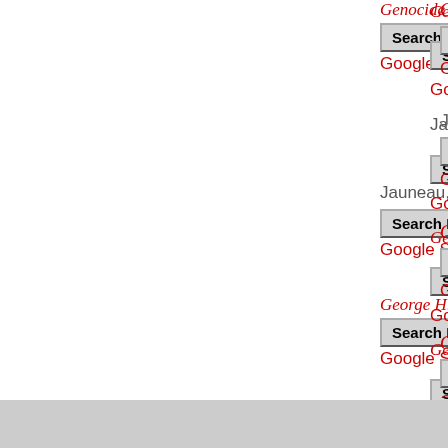Genocide Stud…
Search Local
Google S…
Jauneau, Élodi…
Search Local
Google S…
George H. W. B…
Search Local
Google S…
George W. Bus…
Search Local
Google S…
« first